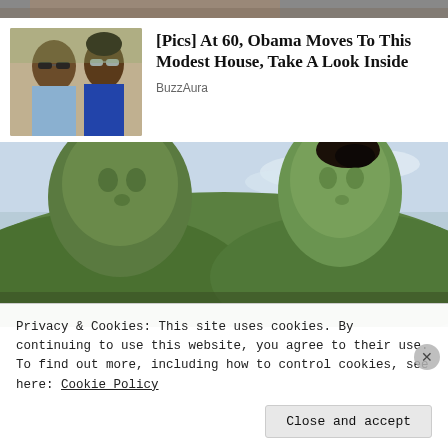[Figure (photo): Cropped top portion of an image, partially visible strip]
[Figure (photo): Photo of two people (resembling Obama and Michelle) wearing sunglasses outdoors]
[Pics] At 60, Obama Moves To This Modest House, Take A Look Inside
BuzzAura
[Figure (photo): Still from a Marvel show featuring two green-skinned Hulk characters (Hulk and She-Hulk) facing each other outdoors with green hillside background]
Privacy & Cookies: This site uses cookies. By continuing to use this website, you agree to their use.
To find out more, including how to control cookies, see here: Cookie Policy
Close and accept